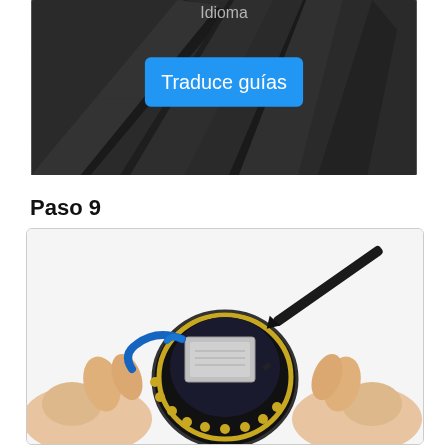[Figure (photo): Dark background photo showing spiky tools (screwdrivers or spudgers) with a blue button labeled 'Traduce guías' overlaid in the center. The background image suggests a repair/teardown guide context. Spanish text 'Idioma' partially visible at top.]
Paso 9
[Figure (photo): Close-up photo of hands using a black spudger/prying tool to separate components of a small round smartwatch or fitness tracker. The device is open showing internal circuit board with gold contact points and a blue battery cable. The internal components are visible including a rectangular silver chip.]